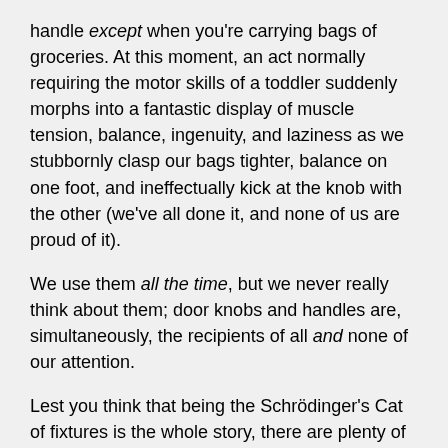handle except when you're carrying bags of groceries. At this moment, an act normally requiring the motor skills of a toddler suddenly morphs into a fantastic display of muscle tension, balance, ingenuity, and laziness as we stubbornly clasp our bags tighter, balance on one foot, and ineffectually kick at the knob with the other (we've all done it, and none of us are proud of it).
We use them all the time, but we never really think about them; door knobs and handles are, simultaneously, the recipients of all and none of our attention.
Lest you think that being the Schrödinger's Cat of fixtures is the whole story, there are plenty of real world, non-quantum physics ways you can think about door knobs and handles (surprising, right?) In fact, they have their genesis in an eminently practical concern: the cost of securing a home. Prior to the invention of door knobs or handles as we know and recognize them today, a simple